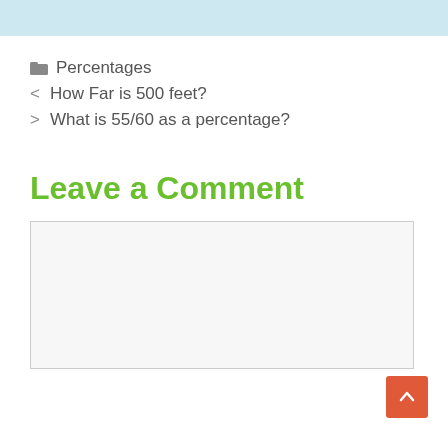[Figure (other): Light blue banner strip at the top of the page]
Percentages
< How Far is 500 feet?
> What is 55/60 as a percentage?
Leave a Comment
[Figure (other): Empty comment text area input box with light gray background]
[Figure (other): Orange scroll-to-top button with upward chevron arrow, bottom right corner]